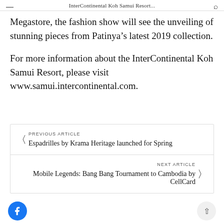InterContinental Koh Samui Resort...
Megastore, the fashion show will see the unveiling of stunning pieces from Patinya’s latest 2019 collection.

For more information about the InterContinental Koh Samui Resort, please visit www.samui.intercontinental.com.
PREVIOUS ARTICLE
Espadrilles by Krama Heritage launched for Spring
NEXT ARTICLE
Mobile Legends: Bang Bang Tournament to Cambodia by CellCard